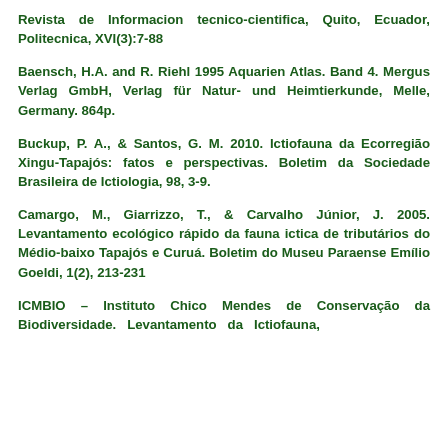Revista de Informacion tecnico-cientifica, Quito, Ecuador, Politecnica, XVI(3):7-88
Baensch, H.A. and R. Riehl 1995 Aquarien Atlas. Band 4. Mergus Verlag GmbH, Verlag für Natur- und Heimtierkunde, Melle, Germany. 864p.
Buckup, P. A., & Santos, G. M. 2010. Ictiofauna da Ecorregião Xingu-Tapajós: fatos e perspectivas. Boletim da Sociedade Brasileira de Ictiologia, 98, 3-9.
Camargo, M., Giarrizzo, T., & Carvalho Júnior, J. 2005. Levantamento ecológico rápido da fauna ictica de tributários do Médio-baixo Tapajós e Curuá. Boletim do Museu Paraense Emílio Goeldi, 1(2), 213-231
ICMBIO – Instituto Chico Mendes de Conservação da Biodiversidade. Levantamento da Ictiofauna,